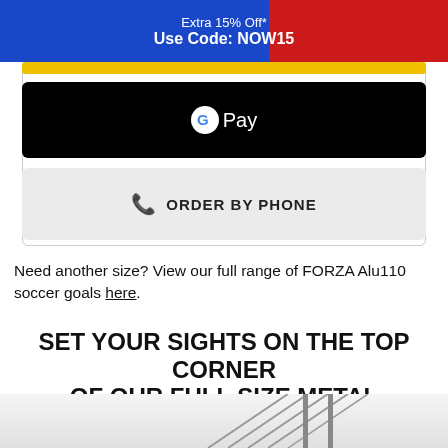Extra 15% Off*
Use Code: NOW15
[Figure (screenshot): Yellow button bar (partially visible)]
[Figure (screenshot): Google Pay button — black rounded rectangle with G Pay logo]
[Figure (screenshot): Order by Phone button — light grey rounded rectangle with phone icon and text ORDER BY PHONE]
Need another size? View our full range of FORZA Alu110 soccer goals here.
SET YOUR SIGHTS ON THE TOP CORNER OF OUR FULL SIZE METAL FOOTBALL GOALS
[Figure (photo): Partial image of metal football goal structure at bottom of page]